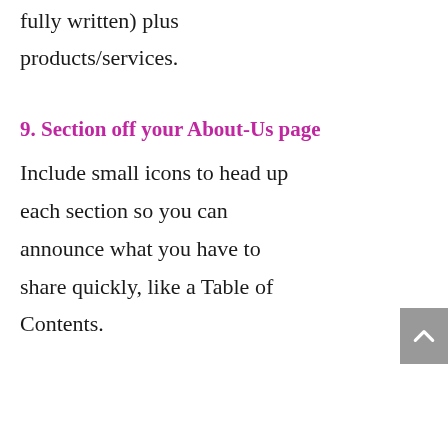( fully written) plus products/services.
9. Section off your About-Us page
Include small icons to head up each section so you can announce what you have to share quickly, like a Table of Contents.